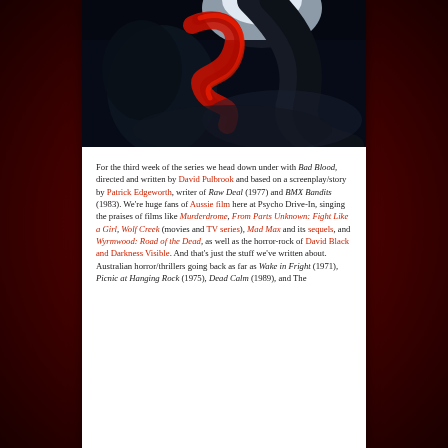[Figure (photo): Dark horror-style image with red flowing fabric or blood against a dark background with moonlight]
For the third week of the series we head down under with Bad Blood, directed and written by David Pulbrook and based on a screenplay/story by Patrick Edgeworth, writer of Raw Deal (1977) and BMX Bandits (1983). We're huge fans of Aussie film here at Psycho Drive-In, singing the praises of films like Murderdrome, From Parts Unknown: Fight Like a Girl, Wolf Creek (movies and TV series), Mad Max and its sequels, and Wyrmwood: Road of the Dead, as well as the horror-rock of David Black and Darkness Visible. And that's just the stuff we've written about. Australian horror/thrillers going back as far as Wake in Fright (1971), Picnic at Hanging Rock (1975), Dead Calm (1989), and The